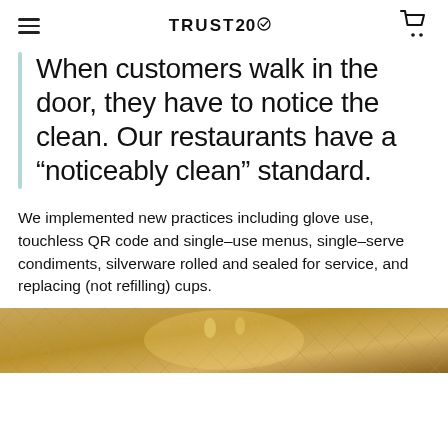TRUST20
When customers walk in the door, they have to notice the clean. Our restaurants have a “noticeably clean” standard.
We implemented new practices including glove use, touchless QR code and single-use menus, single-serve condiments, silverware rolled and sealed for service, and replacing (not refilling) cups.
[Figure (photo): Bottom portion of a restaurant interior photo showing warm golden/amber tones with decorative wall patterns and ambient lighting.]